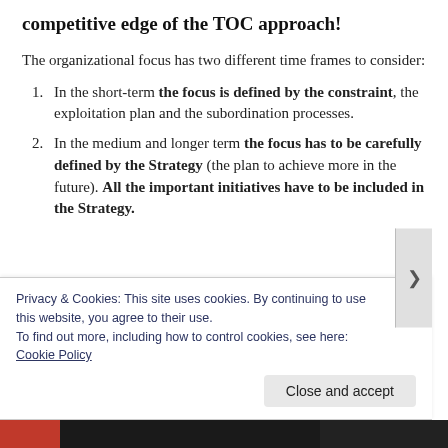competitive edge of the TOC approach!
The organizational focus has two different time frames to consider:
In the short-term the focus is defined by the constraint, the exploitation plan and the subordination processes.
In the medium and longer term the focus has to be carefully defined by the Strategy (the plan to achieve more in the future). All the important initiatives have to be included in the Strategy.
Privacy & Cookies: This site uses cookies. By continuing to use this website, you agree to their use.
To find out more, including how to control cookies, see here: Cookie Policy